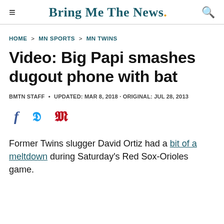Bring Me The News.
HOME > MN SPORTS > MN TWINS
Video: Big Papi smashes dugout phone with bat
BMTN STAFF • UPDATED: MAR 8, 2018 · ORIGINAL: JUL 28, 2013
[Figure (other): Social sharing icons: Facebook (f), Twitter (bird), Pinterest (P)]
Former Twins slugger David Ortiz had a bit of a meltdown during Saturday's Red Sox-Orioles game.